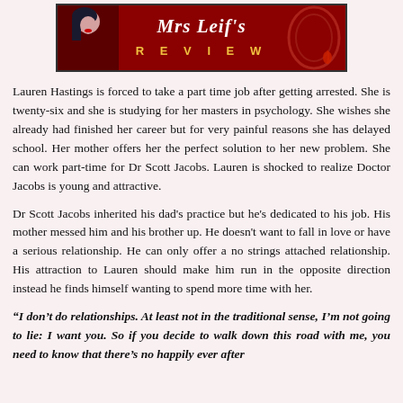[Figure (illustration): Banner image for Mrs Leif's Review blog, showing a stylized illustration of a woman with dark hair and red elements, with the text 'Mrs Leif's' in italic white and 'REVIEW' in gold letters on a dark red background.]
Lauren Hastings is forced to take a part time job after getting arrested. She is twenty-six and she is studying for her masters in psychology. She wishes she already had finished her career but for very painful reasons she has delayed school. Her mother offers her the perfect solution to her new problem. She can work part-time for Dr Scott Jacobs. Lauren is shocked to realize Doctor Jacobs is young and attractive.
Dr Scott Jacobs inherited his dad's practice but he's dedicated to his job. His mother messed him and his brother up. He doesn't want to fall in love or have a serious relationship. He can only offer a no strings attached relationship. His attraction to Lauren should make him run in the opposite direction instead he finds himself wanting to spend more time with her.
“I don’t do relationships. At least not in the traditional sense, I’m not going to lie: I want you. So if you decide to walk down this road with me, you need to know that there’s no happily ever after